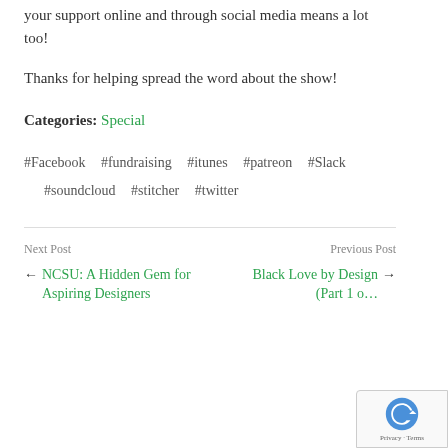your support online and through social media means a lot too!
Thanks for helping spread the word about the show!
Categories: Special
#Facebook   #fundraising   #itunes   #patreon   #Slack   #soundcloud   #stitcher   #twitter
Next Post   Previous Post   ← NCSU: A Hidden Gem for Aspiring Designers   Black Love by Design (Part 1 →